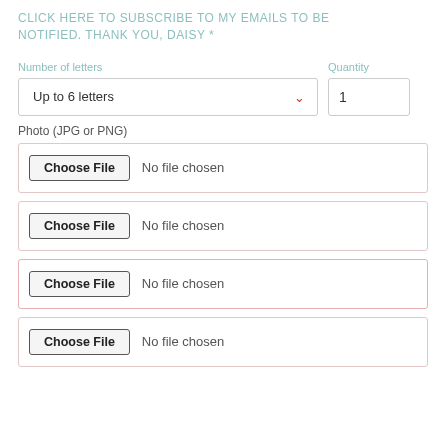CLICK HERE TO SUBSCRIBE TO MY EMAILS TO BE NOTIFIED. THANK YOU, DAISY *
Number of letters
Quantity
Up to 6 letters
1
Photo (JPG or PNG)
Choose File  No file chosen
Choose File  No file chosen
Choose File  No file chosen
Choose File  No file chosen